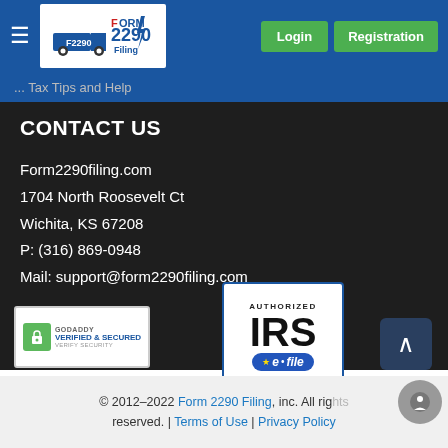[Figure (logo): Form 2290 Filing website navigation bar with logo, Login and Registration buttons]
... Tax Tips and Help
CONTACT US
Form2290filing.com
1704 North Roosevelt Ct
Wichita, KS 67208
P: (316) 869-0948
Mail: support@form2290filing.com
[Figure (logo): GoDaddy Verified & Secured badge]
[Figure (logo): Authorized IRS e-file Provider badge]
© 2012-2022 Form 2290 Filing, inc. All rights reserved. | Terms of Use | Privacy Policy